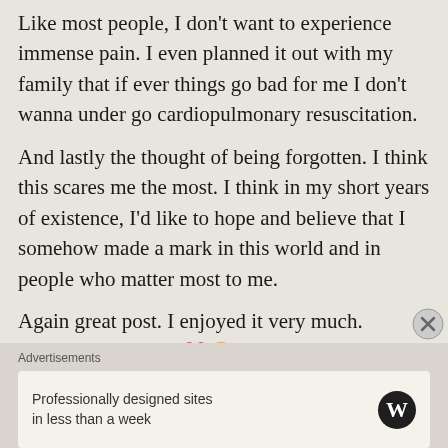Like most people, I don't want to experience immense pain. I even planned it out with my family that if ever things go bad for me I don't wanna under go cardiopulmonary resuscitation.
And lastly the thought of being forgotten. I think this scares me the most. I think in my short years of existence, I'd like to hope and believe that I somehow made a mark in this world and in people who matter most to me.
Again great post. I enjoyed it very much.
Beautifully written ❤️😊
Advertisements
Professionally designed sites in less than a week